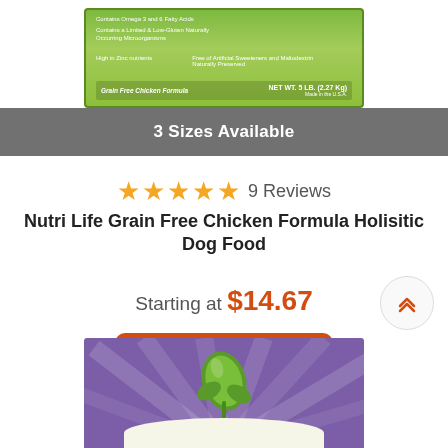[Figure (photo): Product package photo - Nutri Life Grain Free Chicken Formula dog food bag, green packaging with text on label]
3 Sizes Available
★★★★★ 9 Reviews
Nutri Life Grain Free Chicken Formula Holisitic Dog Food
Starting at $14.67
Shop Now
[Figure (photo): Second product image with purple packaging and plant graphic]